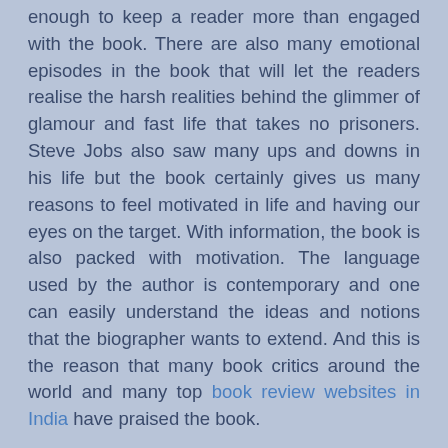enough to keep a reader more than engaged with the book. There are also many emotional episodes in the book that will let the readers realise the harsh realities behind the glimmer of glamour and fast life that takes no prisoners. Steve Jobs also saw many ups and downs in his life but the book certainly gives us many reasons to feel motivated in life and having our eyes on the target. With information, the book is also packed with motivation. The language used by the author is contemporary and one can easily understand the ideas and notions that the biographer wants to extend. And this is the reason that many book critics around the world and many top book review websites in India have praised the book.
Conclusion:
The book is a must-read. At the outset of this conclusion, let me put it frankly and candidly. You will have an amazing experience reading this cleanly